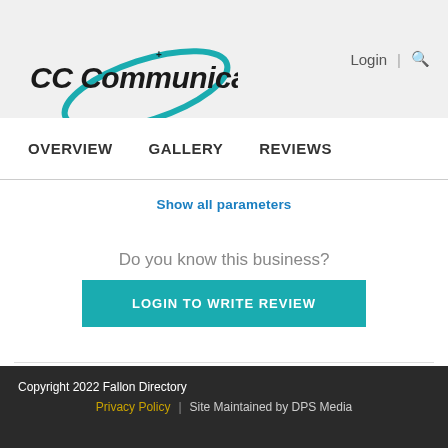CC Communications | Login | Search
OVERVIEW   GALLERY   REVIEWS
Show all parameters
Do you know this business?
LOGIN TO WRITE REVIEW
Copyright 2022 Fallon Directory | Privacy Policy | Site Maintained by DPS Media